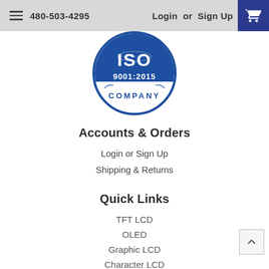480-503-4295  Login or Sign Up
[Figure (logo): ISO 9001:2015 Company certification logo, circular blue and white badge]
Accounts & Orders
Login or Sign Up
Shipping & Returns
Quick Links
TFT LCD
OLED
Graphic LCD
Character LCD
Segment LCD
UWVD
Custom Displays